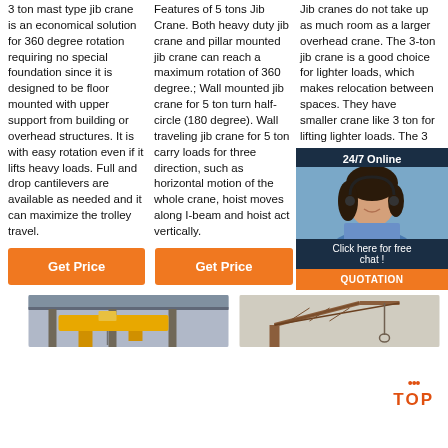3 ton mast type jib crane is an economical solution for 360 degree rotation requiring no special foundation since it is designed to be floor mounted with upper support from building or overhead structures. It is with easy rotation even if it lifts heavy loads. Full and drop cantilevers are available as needed and it can maximize the trolley travel.
Features of 5 tons Jib Crane. Both heavy duty jib crane and pillar mounted jib crane can reach a maximum rotation of 360 degree.; Wall mounted jib crane for 5 ton turn half-circle (180 degree). Wall traveling jib crane for 5 ton carry loads for three direction, such as horizontal motion of the whole crane, hoist moves along I-beam and hoist act vertically.
Jib cranes do not take up as much room as a larger overhead crane. The 3-ton jib crane is a good choice for lighter loads, which makes relocation between spaces. They have smaller crane like 3 ton for lifting lighter loads. The 3 ton jib crane and 5 ton jib cranes are portable cranes for lifting factory.
Get Price
Get Price
Get Price
[Figure (photo): 24/7 Online chat overlay with a woman customer service representative, and a QUOTATION button]
[Figure (photo): Yellow overhead crane in a factory building]
[Figure (photo): Brown/rust colored jib crane structure]